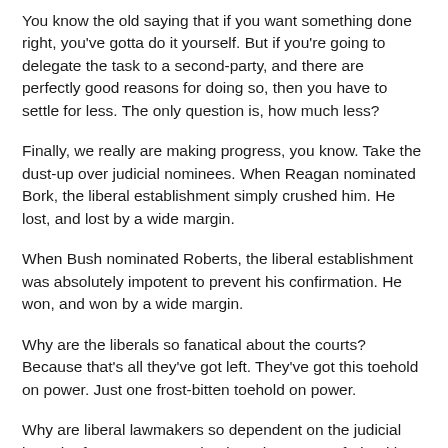You know the old saying that if you want something done right, you've gotta do it yourself. But if you're going to delegate the task to a second-party, and there are perfectly good reasons for doing so, then you have to settle for less. The only question is, how much less?
Finally, we really are making progress, you know. Take the dust-up over judicial nominees. When Reagan nominated Bork, the liberal establishment simply crushed him. He lost, and lost by a wide margin.
When Bush nominated Roberts, the liberal establishment was absolutely impotent to prevent his confirmation. He won, and won by a wide margin.
Why are the liberals so fanatical about the courts? Because that's all they've got left. They've got this toehold on power. Just one frost-bitten toehold on power.
Why are liberal lawmakers so dependent on the judicial branch of government? Why don't they pass a federal law